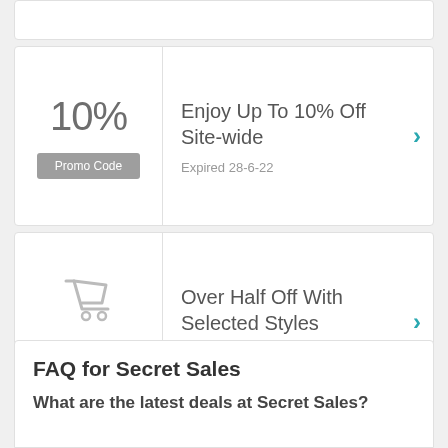10% Promo Code
Enjoy Up To 10% Off Site-wide
Expired 28-6-22
[Figure (illustration): Shopping cart icon in light grey outline]
Deal
Over Half Off With Selected Styles
Expired 21-8-22
FAQ for Secret Sales
What are the latest deals at Secret Sales?